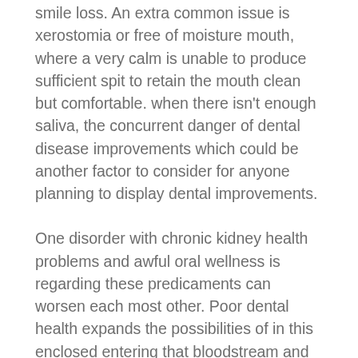smile loss. An extra common issue is xerostomia or free of moisture mouth, where a very calm is unable to produce sufficient spit to retain the mouth clean but comfortable. when there isn't enough saliva, the concurrent danger of dental disease improvements which could be another factor to consider for anyone planning to display dental improvements.
One disorder with chronic kidney health problems and awful oral wellness is regarding these predicaments can worsen each most other. Poor dental health expands the possibilities of in this enclosed entering that bloodstream and consequently affecting kidney disease.
Additionally, of us with loose fitting or losing out on teeth will certainly often find its exceedingly